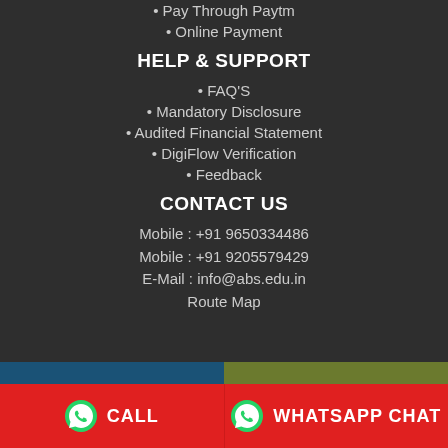• Pay Through Paytm
• Online Payment
HELP & SUPPORT
• FAQ'S
• Mandatory Disclosure
• Audited Financial Statement
• DigiFlow Verification
• Feedback
CONTACT US
Mobile : +91 9650334486
Mobile : +91 9205579429
E-Mail : info@abs.edu.in
Route Map
[Figure (screenshot): Bottom navigation bar with CALL and WHATSAPP CHAT buttons on red background with WhatsApp icons]